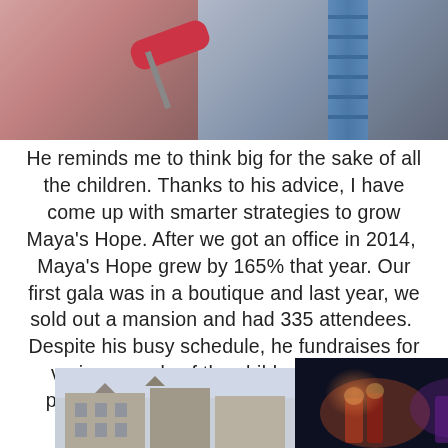[Figure (photo): Two people in a room, one holding a pink paint roller, a blue ladder visible in the background.]
He reminds me to think big for the sake of all the children. Thanks to his advice, I have come up with smarter strategies to grow Maya's Hope. After we got an office in 2014,  Maya's Hope grew by 165% that year. Our first gala was in a boutique and last year, we sold out a mansion and had 335 attendees.  Despite his busy schedule, he fundraises for various needs of the children within our program and contributes for any medical emergency.
[Figure (photo): Two photos side by side at the bottom — left shows a large ornate building exterior, right shows a stage performance scene with colorful lighting.]